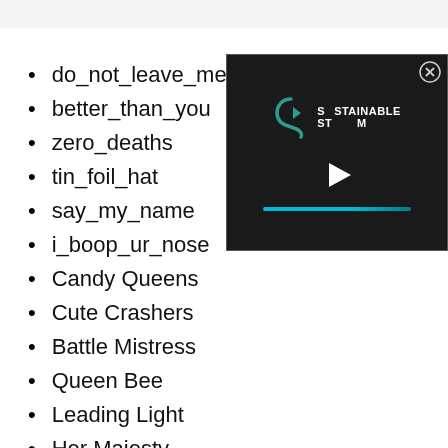do_not_leave_me
better_than_you
zero_deaths
tin_foil_hat
say_my_name
i_boop_ur_nose
Candy Queens
Cute Crashers
Battle Mistress
Queen Bee
Leading Light
Her Majesty
Gun Digger
Shy Gun
[Figure (screenshot): Video player overlay with dark background showing a logo with a teal S shape and text SUSTAINABLE STREAM, a white play button triangle, and a teal progress bar. A close (X) button is in the top-right corner.]